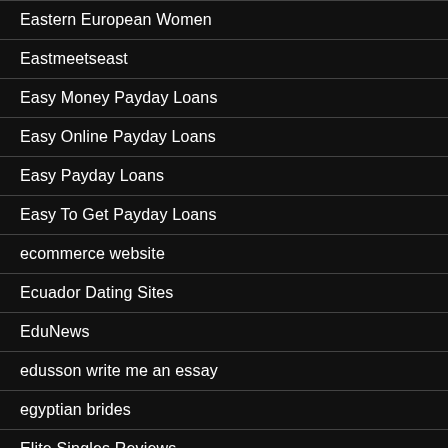Eastern European Women
Eastmeetseast
Easy Money Payday Loans
Easy Online Payday Loans
Easy Payday Loans
Easy To Get Payday Loans
ecommerce website
Ecuador Dating Sites
EduNews
edusson write me an essay
egyptian brides
Elite Singles Reviews
Elite Singles Revi…